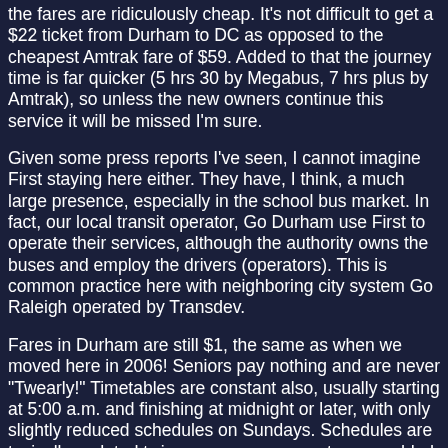the fares are ridiculously cheap. It's not difficult to get a $22 ticket from Durham to DC as opposed to the cheapest Amtrak fare of $59. Added to that the journey time is far quicker (5 hrs 30 by Megabus, 7 hrs plus by Amtrak), so unless the new owners continue this service it will be missed I'm sure.
Given some press reports I've seen, I cannot imagine First staying here either. They have, I think, a much large presence, especially in the school bus market. In fact, our local transit operator, Go Durham use First to operate their services, although the authority owns the buses and employ the drivers (operators). This is common practice here with neighboring city system Go Raleigh operated by Transdev.
Fares in Durham are still $1, the same as when we moved here in 2006! Seniors pay nothing and are never "Twearly!" Timetables are constant also, usually starting at 5:00 a.m. and finishing at midnight or later, with only slightly reduced schedules on Sundays. Schedules are typically updated twice a year as new routes are added and existing routes routes are adjusted, usually following public consultation.